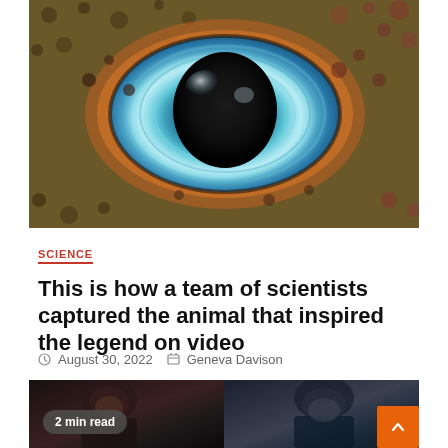[Figure (photo): Close-up macro photograph of a squid or cephalopod eye showing iridescent rainbow-colored iris with dark pupil, surrounded by spotted skin]
SCIENCE
This is how a team of scientists captured the animal that inspired the legend on video
August 30, 2022   Geneva Davison
[Figure (photo): Two side-by-side photos of male athletes or fighters, lower portion visible, with a '2 min read' badge overlay on the left image]